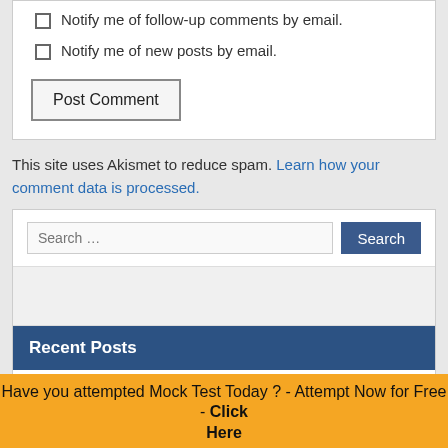Notify me of follow-up comments by email.
Notify me of new posts by email.
Post Comment
This site uses Akismet to reduce spam. Learn how your comment data is processed.
Search …
Recent Posts
Akola DCCB Clerk Previous Papers Download Banking Officer Papers
NRHM Punjab Previous Papers Download NRHM Previous Model papers
Have you attempted Mock Test Today ? - Attempt Now for Free - Click Here